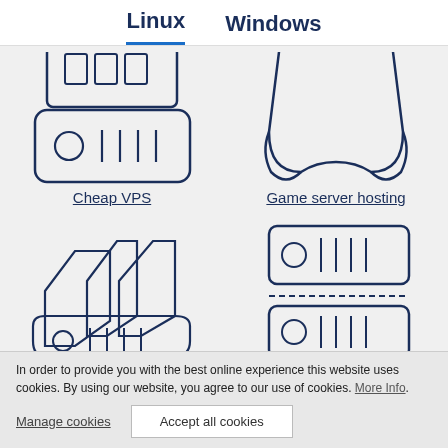Linux   Windows
[Figure (illustration): Icon of a server/router device with circular port and ventilation slots, top portion cropped]
[Figure (illustration): Icon of a game controller, partially cropped at top]
Cheap VPS
Game server hosting
[Figure (illustration): Icon of a server rack with multiple stacked blade servers]
[Figure (illustration): Icon of a tower server unit with ventilation slots and ports]
In order to provide you with the best online experience this website uses cookies. By using our website, you agree to our use of cookies. More Info.
Manage cookies
Accept all cookies